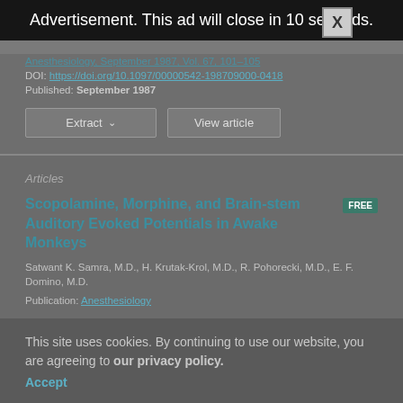Advertisement. This ad will close in 10 seconds.
Anesthesiology, September 1987, Vol. 67, ...
DOI: https://doi.org/10.1097/00000542-198709000-0418
Published: September 1987
Extract | View article
Articles
Scopolamine, Morphine, and Brain-stem Auditory Evoked Potentials in Awake Monkeys
Satwant K. Samra, M.D., H. Krutak-Krol, M.D., R. Pohorecki, M.D., E. F. Domino, M.D.
Publication: Anesthesiology
This site uses cookies. By continuing to use our website, you are agreeing to our privacy policy.
Accept